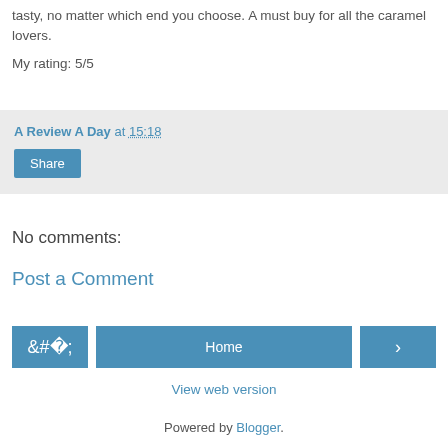tasty, no matter which end you choose. A must buy for all the caramel lovers.
My rating: 5/5
A Review A Day at 15:18
Share
No comments:
Post a Comment
‹
Home
›
View web version
Powered by Blogger.